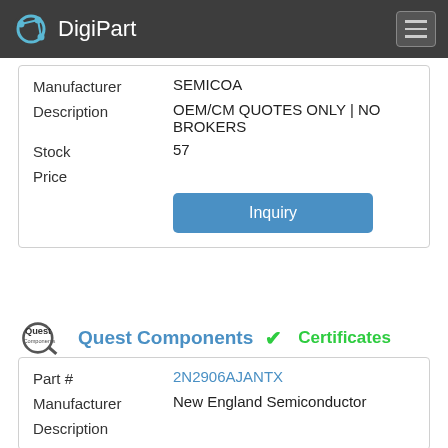DigiPart
| Field | Value |
| --- | --- |
| Manufacturer | SEMICOA |
| Description | OEM/CM QUOTES ONLY | NO BROKERS |
| Stock | 57 |
| Price |  |
Inquiry
Quest Components  ✓  Certificates
| Field | Value |
| --- | --- |
| Part # | 2N2906AJANTX |
| Manufacturer | New England Semiconductor |
| Description |  |